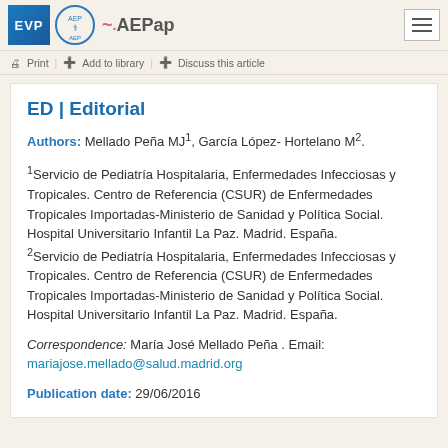EVP | AEP | AEPap | [hamburger menu]
Print | Add to library | Discuss this article
ED | Editorial
Authors: Mellado Peña MJ1, García López- Hortelano M2.
1Servicio de Pediatría Hospitalaria, Enfermedades Infecciosas y Tropicales. Centro de Referencia (CSUR) de Enfermedades Tropicales Importadas-Ministerio de Sanidad y Política Social. Hospital Universitario Infantil La Paz. Madrid. España.
2Servicio de Pediatría Hospitalaria, Enfermedades Infecciosas y Tropicales. Centro de Referencia (CSUR) de Enfermedades Tropicales Importadas-Ministerio de Sanidad y Política Social. Hospital Universitario Infantil La Paz. Madrid. España.
Correspondence: María José Mellado Peña . Email: mariajose.mellado@salud.madrid.org
Publication date: 29/06/2016